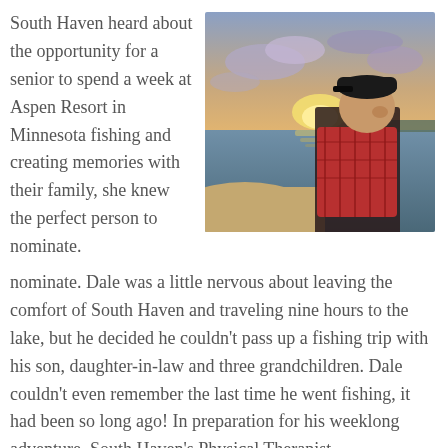South Haven heard about the opportunity for a senior to spend a week at Aspen Resort in Minnesota fishing and creating memories with their family, she knew the perfect person to nominate.
[Figure (photo): A man wearing a black cap and red plaid shirt sits on a boat looking out at a lake during sunset, with colorful clouds in the sky.]
Dale was a little nervous about leaving the comfort of South Haven and traveling nine hours to the lake, but he decided he couldn't pass up a fishing trip with his son, daughter-in-law and three grandchildren. Dale couldn't even remember the last time he went fishing, it had been so long ago! In preparation for his weeklong adventure, South Haven's Physical Therapist